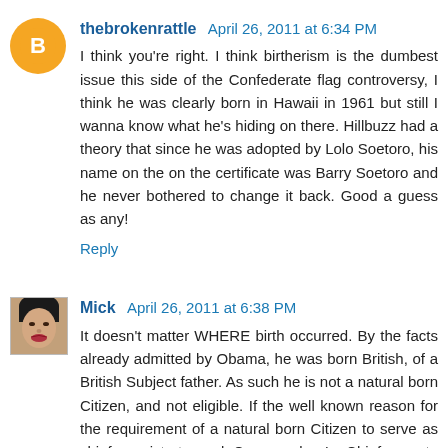[Figure (illustration): Orange circle avatar with white blogger B icon]
thebrokenrattle April 26, 2011 at 6:34 PM
I think you're right. I think birtherism is the dumbest issue this side of the Confederate flag controversy, I think he was clearly born in Hawaii in 1961 but still I wanna know what he's hiding on there. Hillbuzz had a theory that since he was adopted by Lolo Soetoro, his name on the on the certificate was Barry Soetoro and he never bothered to change it back. Good a guess as any!
Reply
[Figure (photo): Small square photo of a person (Mick) with dark hair and red lips]
Mick April 26, 2011 at 6:38 PM
It doesn't matter WHERE birth occurred. By the facts already admitted by Obama, he was born British, of a British Subject father. As such he is not a natural born Citizen, and not eligible. If the well known reason for the requirement of a natural born Citizen to serve as chief magistrate and Commander In Chief was to prevent foreign influence (see Jay's letter to Obama in 1787, and Federalist #68) then how is it possible that one born British could be